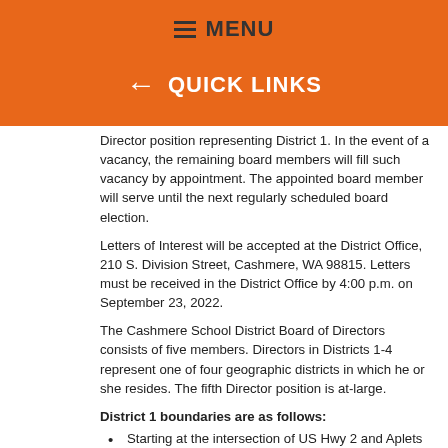≡ MENU
← QUICK LINKS
Director position representing District 1. In the event of a vacancy, the remaining board members will fill such vacancy by appointment. The appointed board member will serve until the next regularly scheduled board election.
Letters of Interest will be accepted at the District Office, 210 S. Division Street, Cashmere, WA 98815. Letters must be received in the District Office by 4:00 p.m. on September 23, 2022.
The Cashmere School District Board of Directors consists of five members. Directors in Districts 1-4 represent one of four geographic districts in which he or she resides. The fifth Director position is at-large.
District 1 boundaries are as follows:
Starting at the intersection of US Hwy 2 and Aplets Way.
Southerly on Aplets Way to Prospect St.
East on Prospect St to North St.
South on North St to E Pleasant Ave.
East on E Pleasant Ave to Woodring St.